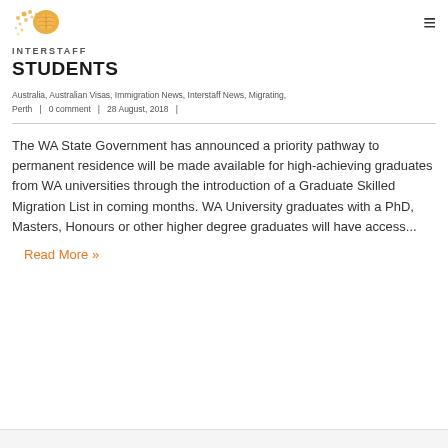INTERSTAFF
STUDENTS
Australia, Australian Visas, Immigration News, Interstaff News, Migrating, Perth  |  0 comment  |  28 August, 2018  |
The WA State Government has announced a priority pathway to permanent residence will be made available for high-achieving graduates from WA universities through the introduction of a Graduate Skilled Migration List in coming months. WA University graduates with a PhD, Masters, Honours or other higher degree graduates will have access...
Read More »